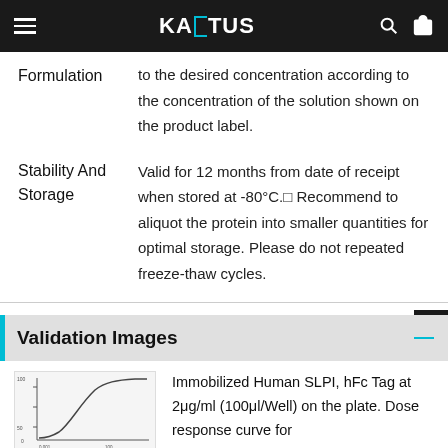KAGTUS
| Field | Value |
| --- | --- |
| Formulation | to the desired concentration according to the concentration of the solution shown on the product label. |
| Stability And Storage | Valid for 12 months from date of receipt when stored at -80°C.□ Recommend to aliquot the protein into smaller quantities for optimal storage. Please do not repeated freeze-thaw cycles. |
Validation Images
[Figure (continuous-plot): Dose response curve chart (partial view), immobilized Human SLPI hFc Tag ELISA data]
Immobilized Human SLPI, hFc Tag at 2μg/ml (100μl/Well) on the plate. Dose response curve for